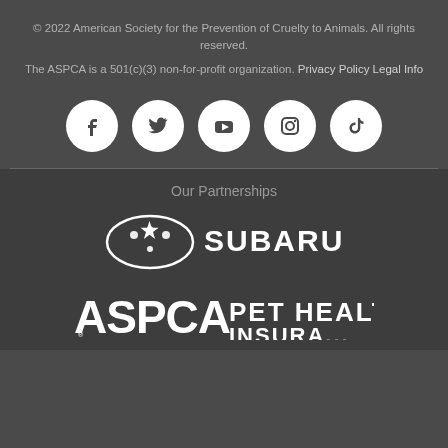© 2022 American Society for the Prevention of Cruelty to Animals. All rights reserved.
The ASPCA is a 501(c)(3) non-for-profit organization. Privacy Policy  Legal Info
[Figure (illustration): Five social media icons in white circles on dark background: Facebook, Twitter, YouTube, Instagram, TikTok]
Our Partnerships
[Figure (logo): Subaru logo - white star emblem with SUBARU text]
[Figure (logo): ASPCA Pet Health Insurance logo - partial view at bottom]